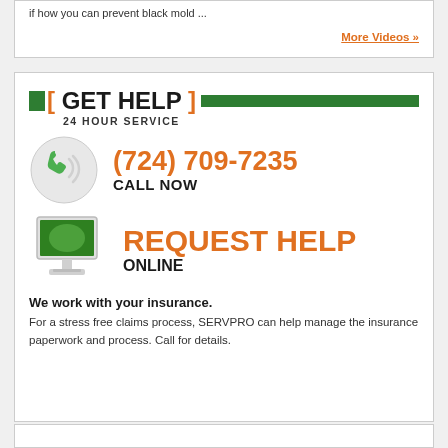if how you can prevent black mold ...
More Videos »
[ GET HELP ] 24 HOUR SERVICE
[Figure (illustration): Green phone handset icon with signal waves inside a light grey circle]
(724) 709-7235 CALL NOW
[Figure (illustration): Computer monitor with green glowing screen, white stand]
REQUEST HELP ONLINE
We work with your insurance.
For a stress free claims process, SERVPRO can help manage the insurance paperwork and process. Call for details.